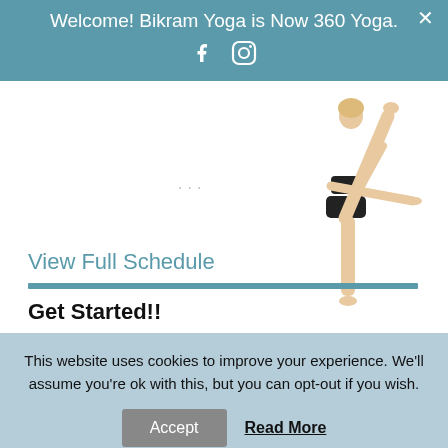Welcome! Bikram Yoga is Now 360 Yoga.
[Figure (photo): Yoga practitioner in a standing bow pose, wearing black athletic wear, on a white background.]
...
View Full Schedule
Get Started!!
This website uses cookies to improve your experience. We'll assume you're ok with this, but you can opt-out if you wish.
Accept   Read More